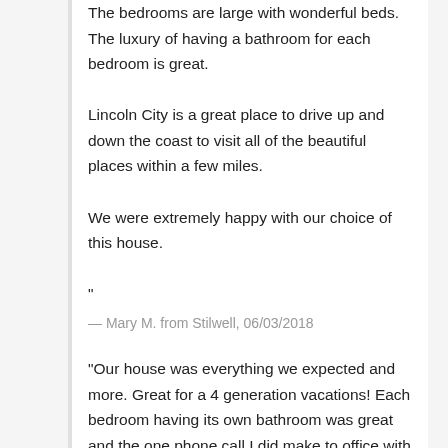The bedrooms are large with wonderful beds. The luxury of having a bathroom for each bedroom is great.
Lincoln City is a great place to drive up and down the coast to visit all of the beautiful places within a few miles.
We were extremely happy with our choice of this house.
"
— Mary M. from Stilwell, 06/03/2018
"Our house was everything we expected and more. Great for a 4 generation vacations! Each bedroom having its own bathroom was great and the one phone call I did make to office with a question was